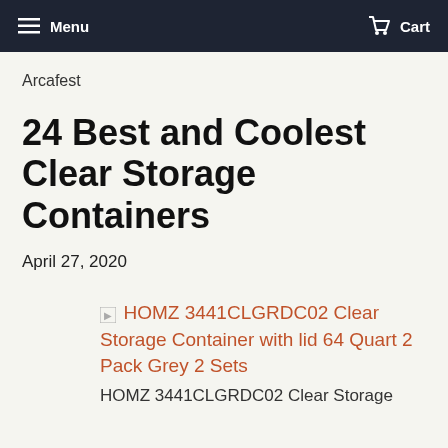Menu  Cart
Arcafest
24 Best and Coolest Clear Storage Containers
April 27, 2020
[Figure (photo): Broken image placeholder for HOMZ 3441CLGRDC02 Clear Storage Container with lid 64 Quart 2 Pack Grey 2 Sets]
HOMZ 3441CLGRDC02 Clear Storage Container with lid 64 Quart 2 Pack Grey 2 Sets
HOMZ 3441CLGRDC02 Clear Storage...